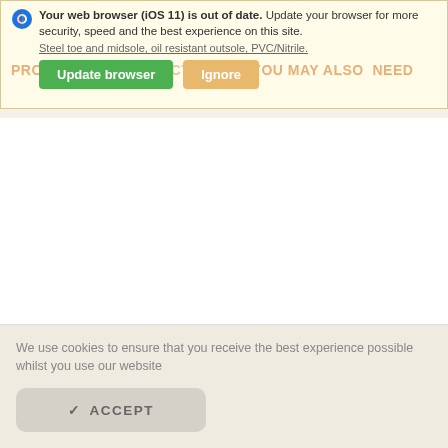Your web browser (iOS 11) is out of date. Update your browser for more security, speed and the best experience on this site. Steel toe and midsole, oil resistant outsole, PVC/Nitrile. PRODUCTS CONSTRUCTION YOU MAY ALSO NEED Update browser Ignore
We use cookies to ensure that you receive the best experience possible whilst you use our website
✓ ACCEPT